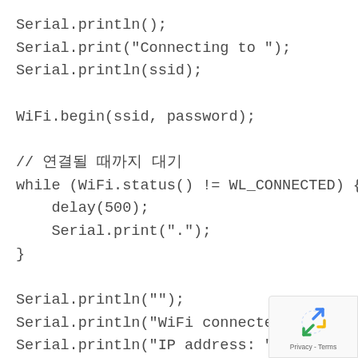Serial.println();
Serial.print("Connecting to ");
Serial.println(ssid);

WiFi.begin(ssid, password);

// 연결될 때까지 대기
while (WiFi.status() != WL_CONNECTED) {
    delay(500);
    Serial.print(".");
}

Serial.println("");
Serial.println("WiFi connected");
Serial.println("IP address: ");
Serial.println(WiFi.localIP());
[Figure (other): reCAPTCHA badge with recycling arrow logo and Privacy - Terms text]